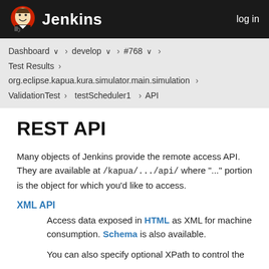Jenkins  log in
Dashboard > develop > #768 > Test Results > org.eclipse.kapua.kura.simulator.main.simulation > ValidationTest > testScheduler1 > API
REST API
Many objects of Jenkins provide the remote access API. They are available at /kapua/.../api/ where "..." portion is the object for which you'd like to access.
XML API
Access data exposed in HTML as XML for machine consumption. Schema is also available.
You can also specify optional XPath to control the